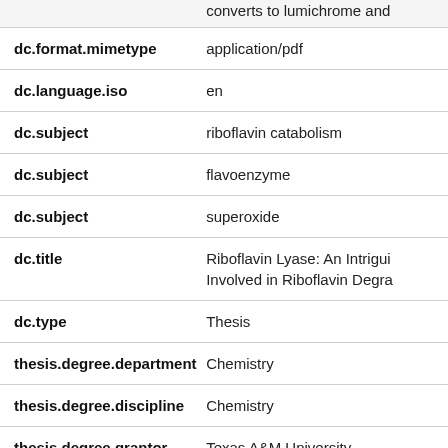| Field | Value |
| --- | --- |
|  | converts to lumichrome and |
| dc.format.mimetype | application/pdf |
| dc.language.iso | en |
| dc.subject | riboflavin catabolism |
| dc.subject | flavoenzyme |
| dc.subject | superoxide |
| dc.title | Riboflavin Lyase: An Intrigui Involved in Riboflavin Degra |
| dc.type | Thesis |
| thesis.degree.department | Chemistry |
| thesis.degree.discipline | Chemistry |
| thesis.degree.grantor | Texas A&M University |
| thesis.degree.name | Doctor of Philosophy |